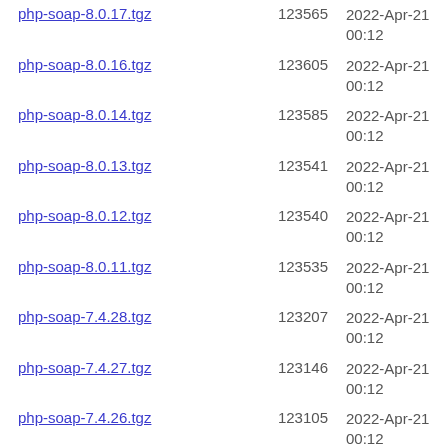php-soap-8.0.17.tgz  123565  2022-Apr-21 00:12
php-soap-8.0.16.tgz  123605  2022-Apr-21 00:12
php-soap-8.0.14.tgz  123585  2022-Apr-21 00:12
php-soap-8.0.13.tgz  123541  2022-Apr-21 00:12
php-soap-8.0.12.tgz  123540  2022-Apr-21 00:12
php-soap-8.0.11.tgz  123535  2022-Apr-21 00:12
php-soap-7.4.28.tgz  123207  2022-Apr-21 00:12
php-soap-7.4.27.tgz  123146  2022-Apr-21 00:12
php-soap-7.4.26.tgz  123105  2022-Apr-21 00:12
php-soap-7.4.25.tgz  123123  2022-Apr-21 00:12
php-soap-7.4.24.tgz  123103  2022-Apr-21 00:12